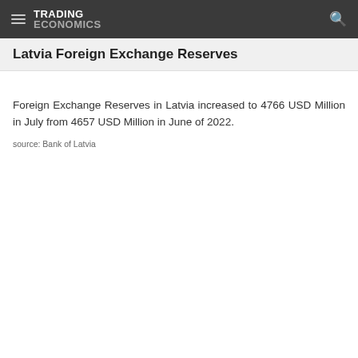TRADING ECONOMICS
Latvia Foreign Exchange Reserves
Foreign Exchange Reserves in Latvia increased to 4766 USD Million in July from 4657 USD Million in June of 2022.
source: Bank of Latvia